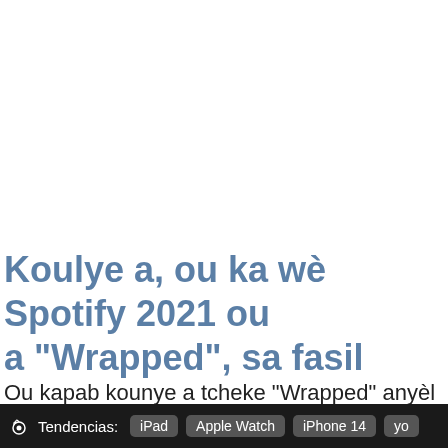Koulye a, ou ka wè Spotify 2021 ou a "Wrapped", sa fasil
Ou kapab kounye a tcheke "Wrapped" anyèl ou a pou
Tendencias: iPad  Apple Watch  iPhone 14  yo